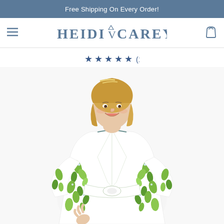Free Shipping On Every Order!
[Figure (logo): Heidi V Carey brand logo with hamburger menu icon on left and shopping bag icon on right]
★★★★★ (1)
[Figure (photo): Woman smiling wearing a white robe with green leaf/floral print pattern, belted at waist, three-quarter sleeves]